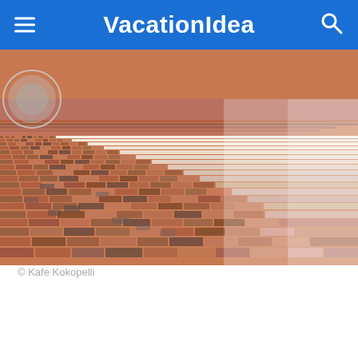VacationIdea
[Figure (photo): Close-up photograph of an old brick pavement or cobblestone street surface, showing weathered red and gray bricks arranged in curved rows. A partial circular shape is visible at the top left corner.]
© Kafe Kokopelli